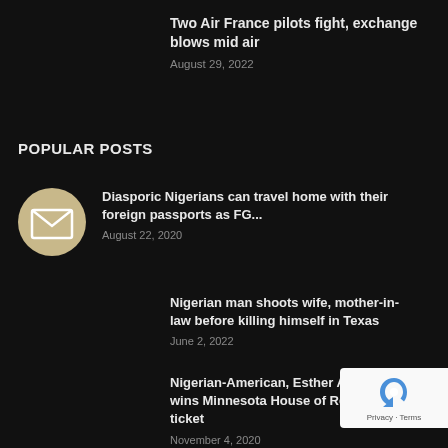Two Air France pilots fight, exchange blows mid air
August 29, 2022
POPULAR POSTS
[Figure (illustration): Circular icon with envelope/mail symbol on beige/gold background]
Diasporic Nigerians can travel home with their foreign passports as FG...
August 22, 2020
Nigerian man shoots wife, mother-in-law before killing himself in Texas
June 2, 2022
Nigerian-American, Esther Agbaje wins Minnesota House of Reps ticket
November 4, 2020
[Figure (logo): reCAPTCHA badge with Privacy and Terms text]